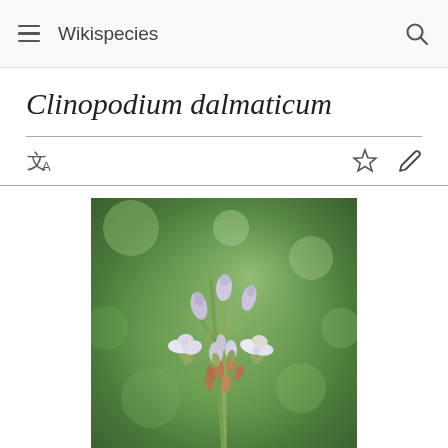Wikispecies
Clinopodium dalmaticum
[Figure (photo): Close-up photograph of Clinopodium dalmaticum plant showing pale lavender-white tubular flowers and buds on green stems against a blurred green background]